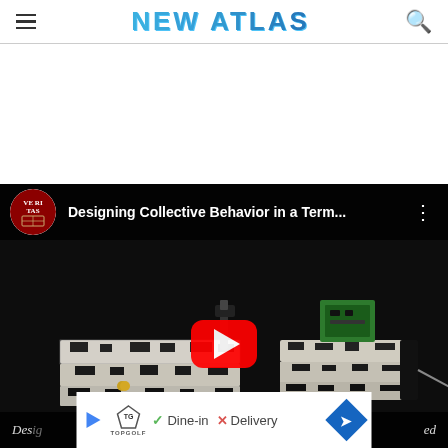NEW ATLAS
[Figure (screenshot): YouTube video thumbnail showing camouflage-patterned flat robots on a dark surface. Video title: Designing Collective Behavior in a Term...]
[Figure (infographic): Ad banner overlay showing Topgolf logo, checkmark Dine-in, X Delivery, and a blue navigation arrow]